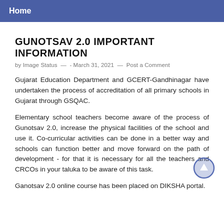Home
GUNOTSAV 2.0 IMPORTANT INFORMATION
by Image Status — - March 31, 2021 — Post a Comment
Gujarat Education Department and GCERT-Gandhinagar have undertaken the process of accreditation of all primary schools in Gujarat through GSQAC.
Elementary school teachers become aware of the process of Gunotsav 2.0, increase the physical facilities of the school and use it. Co-curricular activities can be done in a better way and schools can function better and move forward on the path of development - for that it is necessary for all the teachers and CRCOs in your taluka to be aware of this task.
Ganotsav 2.0 online course has been placed on DIKSHA portal.